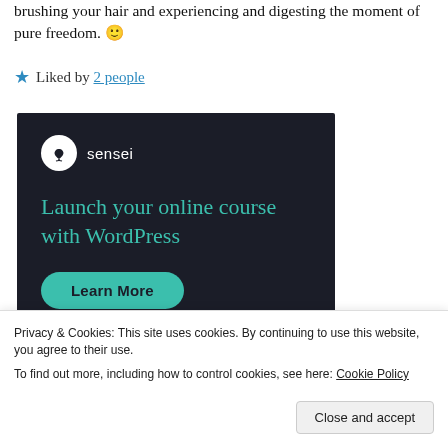brushing your hair and experiencing and digesting the moment of pure freedom. 🙂
★ Liked by 2 people
[Figure (illustration): Sensei advertisement banner with dark background (#1b1d28). Shows Sensei logo (white circle with tree icon and 'sensei' text), headline 'Launch your online course with WordPress' in teal, and a teal 'Learn More' button.]
Privacy & Cookies: This site uses cookies. By continuing to use this website, you agree to their use.
To find out more, including how to control cookies, see here: Cookie Policy
Close and accept